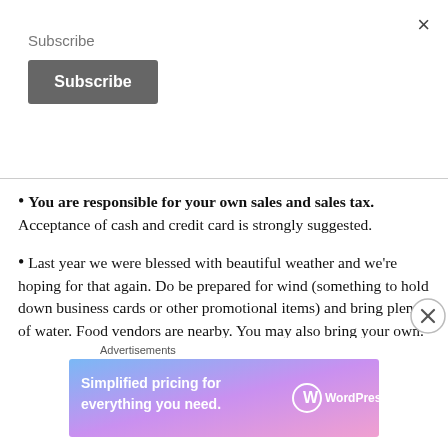×
Subscribe
[Figure (screenshot): Dark grey Subscribe button]
You are responsible for your own sales and sales tax. Acceptance of cash and credit card is strongly suggested.
Last year we were blessed with beautiful weather and we're hoping for that again. Do be prepared for wind (something to hold down business cards or other promotional items) and bring plenty of water. Food vendors are nearby. You may also bring your own. There is no electricity so bring extra batteries
[Figure (screenshot): Close circle button overlay at bottom right]
Advertisements
[Figure (infographic): WordPress.com advertisement banner: Simplified pricing for everything you need. WordPress.com logo on right.]